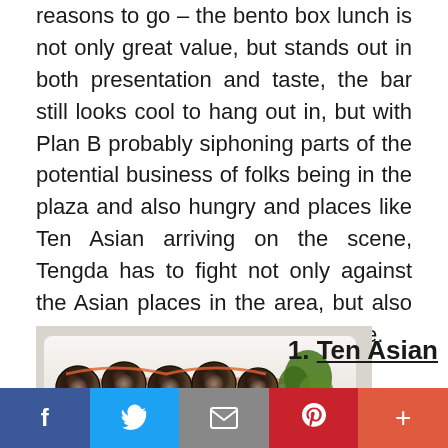reasons to go – the bento box lunch is not only great value, but stands out in both presentation and taste, the bar still looks cool to hang out in, but with Plan B probably siphoning parts of the potential business of folks being in the plaza and also hungry and places like Ten Asian arriving on the scene, Tengda has to fight not only against the Asian places in the area, but also the burger joints in their own space.
[Figure (photo): Photo of sushi rolls arranged on a white rectangular plate, garnished with greens and sauce drizzle]
1. Ten Asian
f  (twitter bird)  (envelope)  (pinterest P)  +